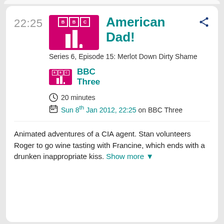22:25
[Figure (logo): BBC Three logo — magenta/pink background with BBC letters in white bordered boxes and three vertical white bars below]
American Dad!
Series 6, Episode 15: Merlot Down Dirty Shame
[Figure (logo): Small BBC Three logo]
BBC Three
20 minutes
Sun 8th Jan 2012, 22:25 on BBC Three
Animated adventures of a CIA agent. Stan volunteers Roger to go wine tasting with Francine, which ends with a drunken inappropriate kiss. Show more